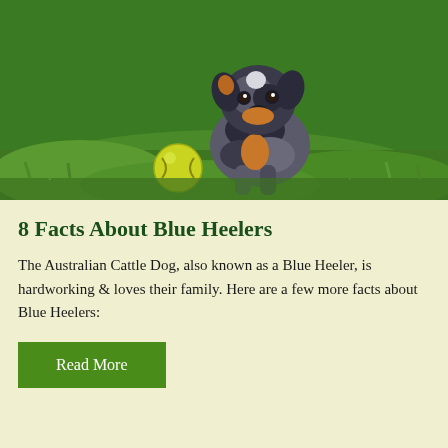[Figure (photo): A Blue Heeler (Australian Cattle Dog) puppy sitting on green grass next to a yellow tennis/softball ball. The puppy has a mottled blue-grey and black coat with tan markings. It is looking directly at the camera.]
8 Facts About Blue Heelers
The Australian Cattle Dog, also known as a Blue Heeler, is hardworking & loves their family. Here are a few more facts about Blue Heelers:
Read More